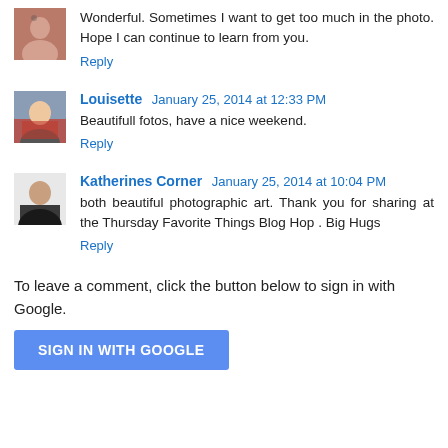Wonderful. Sometimes I want to get too much in the photo. Hope I can continue to learn from you.
Reply
Louisette January 25, 2014 at 12:33 PM
Beautifull fotos, have a nice weekend.
Reply
Katherines Corner January 25, 2014 at 10:04 PM
both beautiful photographic art. Thank you for sharing at the Thursday Favorite Things Blog Hop . Big Hugs
Reply
To leave a comment, click the button below to sign in with Google.
SIGN IN WITH GOOGLE